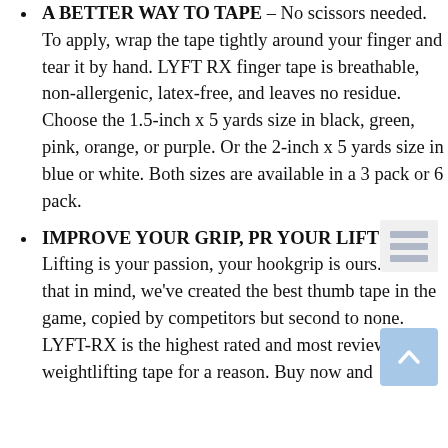A BETTER WAY TO TAPE – No scissors needed. To apply, wrap the tape tightly around your finger and tear it by hand. LYFT RX finger tape is breathable, non-allergenic, latex-free, and leaves no residue. Choose the 1.5-inch x 5 yards size in black, green, pink, orange, or purple. Or the 2-inch x 5 yards size in blue or white. Both sizes are available in a 3 pack or 6 pack.
IMPROVE YOUR GRIP, PR YOUR LIFT! – Lifting is your passion, your hookgrip is ours. With that in mind, we've created the best thumb tape in the game, copied by competitors but second to none. LYFT-RX is the highest rated and most reviewed weightlifting tape for a reason. Buy now and